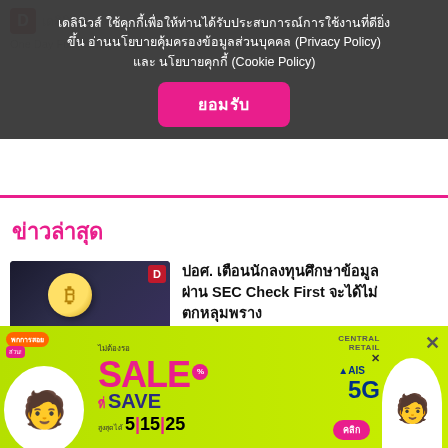เดลินิวส์ ใช้คุกกี้เพื่อให้ท่านได้รับประสบการณ์การใช้งานที่ดียิ่งขึ้น อ่านนโยบายคุ้มครองข้อมูลส่วนบุคคล (Privacy Policy) และ นโยบายคุกกี้ (Cookie Policy)
ยอมรับ
ข่าวล่าสุด
[Figure (photo): Thumbnail image showing a hand holding a bitcoin coin with a dark blue/purple background and text 'เช็กให้ดีก่อนลงทุน']
ปอศ. เตือนนักลงทุนศึกษาข้อมูลผ่าน SEC Check First จะได้ไม่ตกหลุมพราง
22 สิงหาคม 2565 • 20:43 น.
[Figure (photo): Advertisement banner for Central Retail x AIS 5G SALE/SAVE promotion on yellow-green background with characters in delivery uniforms]